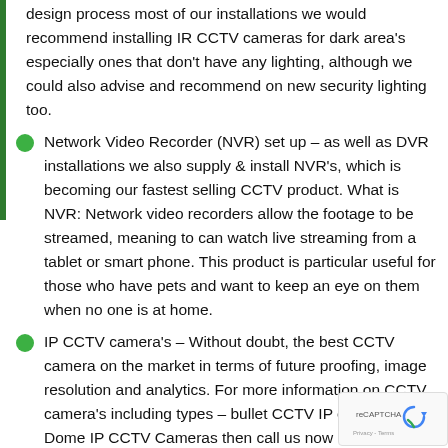design process most of our installations we would recommend installing IR CCTV cameras for dark area's especially ones that don't have any lighting, although we could also advise and recommend on new security lighting too.
Network Video Recorder (NVR) set up – as well as DVR installations we also supply & install NVR's, which is becoming our fastest selling CCTV product. What is NVR: Network video recorders allow the footage to be streamed, meaning to can watch live streaming from a tablet or smart phone. This product is particular useful for those who have pets and want to keep an eye on them when no one is at home.
IP CCTV camera's – Without doubt, the best CCTV camera on the market in terms of future proofing, image resolution and analytics. For more information on CCTV camera's including types – bullet CCTV IP cameras and Dome IP CCTV Cameras then call us now on 0208 945 7331 or 0207 205 2174